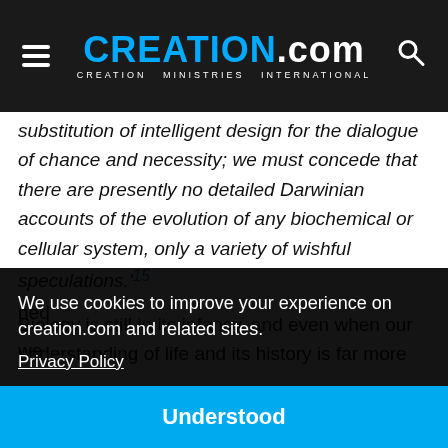CREATION.com – CREATION MINISTRIES INTERNATIONAL
substitution of intelligent design for the dialogue of chance and necessity; we must concede that there are presently no detailed Darwinian accounts of the evolution of any biochemical or cellular system, only a variety of wishful speculations.'15
Biology is still in its infancy, and even when our understanding of life and its history is far more [advanced/refined] ... we
We use cookies to improve your experience on creation.com and related sites.
Privacy Policy
Understood